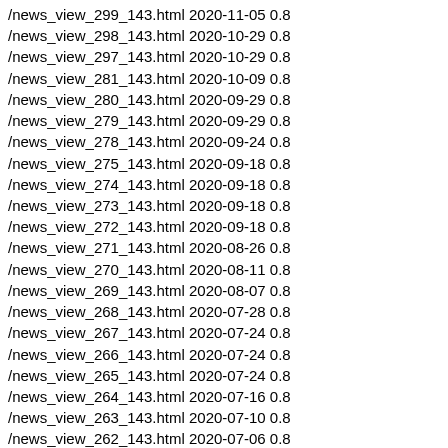/news_view_299_143.html 2020-11-05 0.8
/news_view_298_143.html 2020-10-29 0.8
/news_view_297_143.html 2020-10-29 0.8
/news_view_281_143.html 2020-10-09 0.8
/news_view_280_143.html 2020-09-29 0.8
/news_view_279_143.html 2020-09-29 0.8
/news_view_278_143.html 2020-09-24 0.8
/news_view_275_143.html 2020-09-18 0.8
/news_view_274_143.html 2020-09-18 0.8
/news_view_273_143.html 2020-09-18 0.8
/news_view_272_143.html 2020-09-18 0.8
/news_view_271_143.html 2020-08-26 0.8
/news_view_270_143.html 2020-08-11 0.8
/news_view_269_143.html 2020-08-07 0.8
/news_view_268_143.html 2020-07-28 0.8
/news_view_267_143.html 2020-07-24 0.8
/news_view_266_143.html 2020-07-24 0.8
/news_view_265_143.html 2020-07-24 0.8
/news_view_264_143.html 2020-07-16 0.8
/news_view_263_143.html 2020-07-10 0.8
/news_view_262_143.html 2020-07-06 0.8
/news_view_261_143.html 2020-07-03 0.8
/news_view_260_143.html 2020-06-24 0.8
/news_view_259_143.html 2020-06-18 0.8
/news_view_257_248.html 2020-06-10 0.8